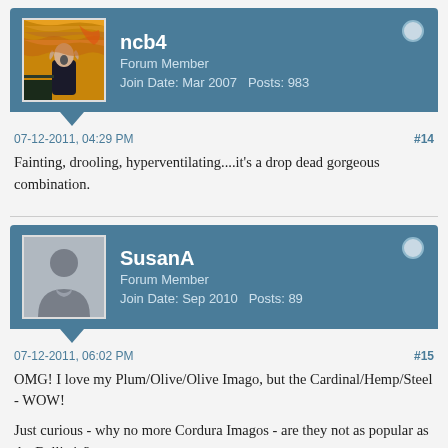[Figure (other): Forum user profile header for ncb4 showing avatar (The Scream painting), username, role, join date and post count]
07-12-2011, 04:29 PM    #14
Fainting, drooling, hyperventilating....it's a drop dead gorgeous combination.
[Figure (other): Forum user profile header for SusanA showing default silhouette avatar, username, role, join date and post count]
07-12-2011, 06:02 PM    #15
OMG! I love my Plum/Olive/Olive Imago, but the Cardinal/Hemp/Steel - WOW!

Just curious - why no more Cordura Imagos - are they not as popular as the Ballistic?